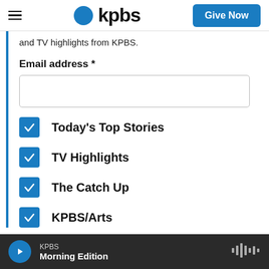KPBS — Give Now
and TV highlights from KPBS.
Email address *
Today's Top Stories
TV Highlights
The Catch Up
KPBS/Arts
KPBS Morning Edition